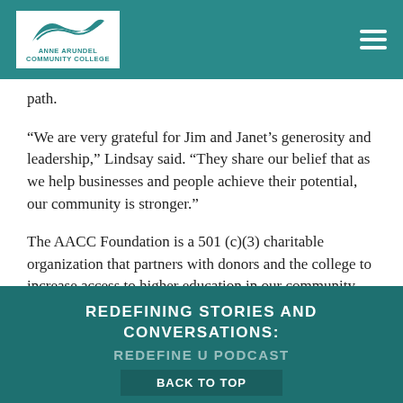ANNE ARUNDEL COMMUNITY COLLEGE
path.
“We are very grateful for Jim and Janet’s generosity and leadership,” Lindsay said. “They share our belief that as we help businesses and people achieve their potential, our community is stronger.”
The AACC Foundation is a 501 (c)(3) charitable organization that partners with donors and the college to increase access to higher education in our community through student scholarships and strategic initiatives that would otherwise not be possible.
REDEFINING STORIES AND CONVERSATIONS: REDEFINE U PODCAST
BACK TO TOP